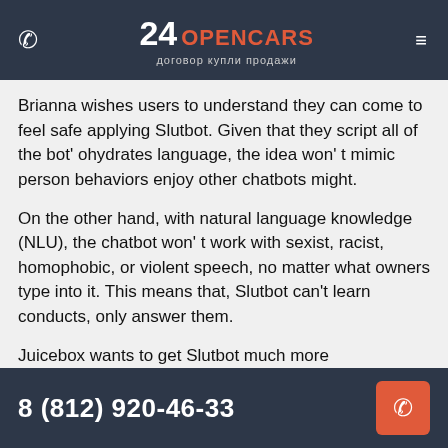24 OPENCARS договор купли продажи
Brianna wishes users to understand they can come to feel safe applying Slutbot. Given that they script all of the bot' ohydrates language, the idea won' t mimic person behaviors enjoy other chatbots might.
On the other hand, with natural language knowledge (NLU), the chatbot won' t work with sexist, racist, homophobic, or violent speech, no matter what owners type into it. This means that, Slutbot can't learn conducts, only answer them.
Juicebox wants to get Slutbot much more customizable for users. In cases where a user can be interested in a particular sex behave, the group wants the chatbot to
8 (812) 920-46-33